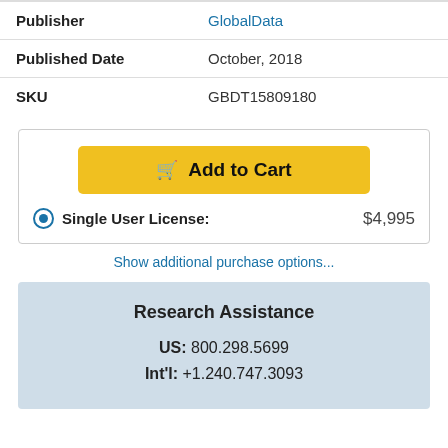| Publisher | GlobalData |
| Published Date | October, 2018 |
| SKU | GBDT15809180 |
Add to Cart
Single User License: $4,995
Show additional purchase options...
Research Assistance
US: 800.298.5699
Int'l: +1.240.747.3093